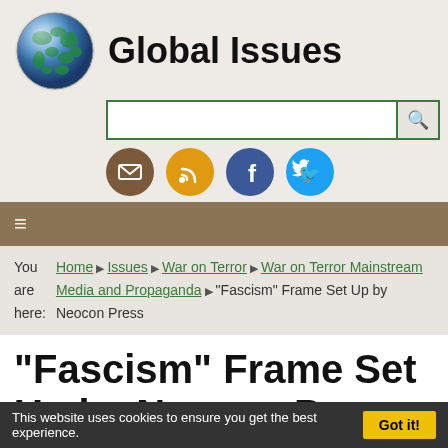Global Issues
[Figure (logo): Globe icon - blue earth sphere]
[Figure (screenshot): Search bar with green border and magnifying glass icon]
[Figure (infographic): Social media icons: email (brown), RSS (orange), Facebook (blue), Twitter (light blue)]
≡ (hamburger menu)
You are here: Home ▶ Issues ▶ War on Terror ▶ War on Terror Mainstream Media and Propaganda ▶ "Fascism" Frame Set Up by Neocon Press
"Fascism" Frame Set Up by Neocon Press
The following article is from Inter Press Service
This website uses cookies to ensure you get the best experience.